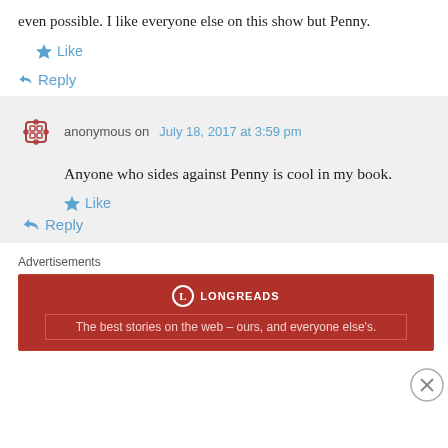even possible. I like everyone else on this show but Penny.
★ Like
↳ Reply
anonymous on July 18, 2017 at 3:59 pm
Anyone who sides against Penny is cool in my book.
★ Like
↳ Reply
Advertisements
[Figure (other): Longreads advertisement banner: red background with logo and text 'The best stories on the web – ours, and everyone else's.']